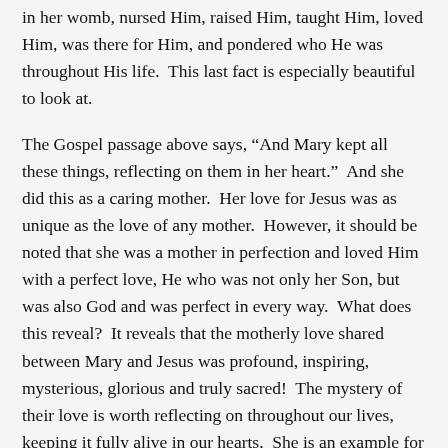in her womb, nursed Him, raised Him, taught Him, loved Him, was there for Him, and pondered who He was throughout His life.  This last fact is especially beautiful to look at.
The Gospel passage above says, “And Mary kept all these things, reflecting on them in her heart.”  And she did this as a caring mother.  Her love for Jesus was as unique as the love of any mother.  However, it should be noted that she was a mother in perfection and loved Him with a perfect love, He who was not only her Son, but was also God and was perfect in every way.  What does this reveal?  It reveals that the motherly love shared between Mary and Jesus was profound, inspiring, mysterious, glorious and truly sacred!  The mystery of their love is worth reflecting on throughout our lives, keeping it fully alive in our hearts.  She is an example for every mother and is also an example for all of us who seek to love others with a pure and holy heart.
Reflect, today, upon the holy and captivating